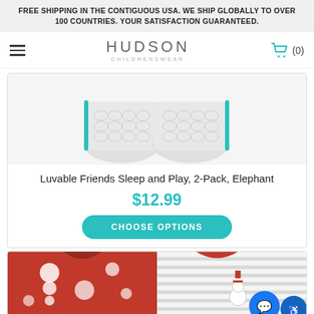FREE SHIPPING IN THE CONTIGUOUS USA. WE SHIP GLOBALLY TO OVER 100 COUNTRIES. YOUR SATISFACTION GUARANTEED.
[Figure (logo): Hudson Childrenswear logo with hamburger menu and shopping cart icon showing (0) items]
[Figure (photo): Luvable Friends Sleep and Play 2-Pack Elephant footed pajamas with gray trellis pattern and teal accents]
Luvable Friends Sleep and Play, 2-Pack, Elephant
$12.99
CHOOSE OPTIONS
[Figure (photo): Two baby holiday/Christmas pajama sets - one red fleece with snowman print, one gray striped with Santa snowman design]